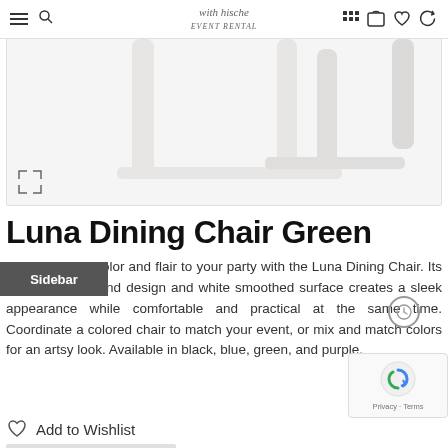Navigation bar with hamburger menu, search, logo (with hische event rental), grid/cart/wishlist/refresh icons
[Figure (photo): White chair legs and bottom portion of a Luna Dining Chair on a white/light gray background, shown from below mid-section. Expand/fullscreen icon at bottom left.]
Luna Dining Chair Green
Sidebar
Add a burst of color and flair to your party with the Luna Dining Chair. Its modern shape and design and white smoothed surface creates a sleek appearance while comfortable and practical at the same time. Coordinate a colored chair to match your event, or mix and match colors for an artsy look. Available in black, blue, green, and purple.
Add to Wishlist